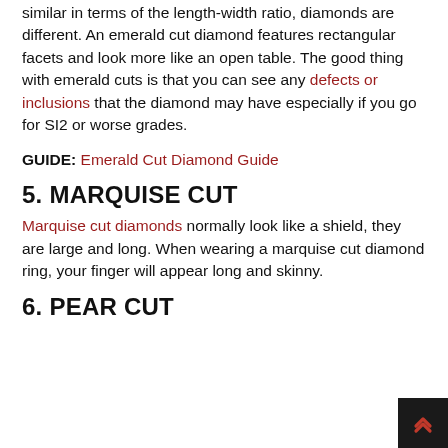similar in terms of the length-width ratio, diamonds are different. An emerald cut diamond features rectangular facets and look more like an open table. The good thing with emerald cuts is that you can see any defects or inclusions that the diamond may have especially if you go for SI2 or worse grades.
GUIDE: Emerald Cut Diamond Guide
5. MARQUISE CUT
Marquise cut diamonds normally look like a shield, they are large and long. When wearing a marquise cut diamond ring, your finger will appear long and skinny.
6. PEAR CUT